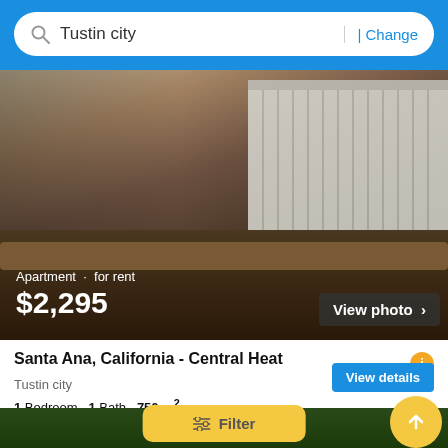[Figure (screenshot): Mobile app search bar with blue background showing search for 'Tustin city' with a Change link on the right]
[Figure (photo): Interior apartment photo showing a room with a wooden counter/ledge and window with vertical blinds in background. Overlay text shows 'Apartment · for rent' and price '$2,295'. A 'View photo >' button appears in the bottom right of the image.]
Santa Ana, California - Central Heat
Tustin city
1 Bedroom  1 Bath  750 m²
Patio · Condo · Wood Floor · Central Air · Central Heat · Kitchen
First seen last week on Dwelling
View details
Filter